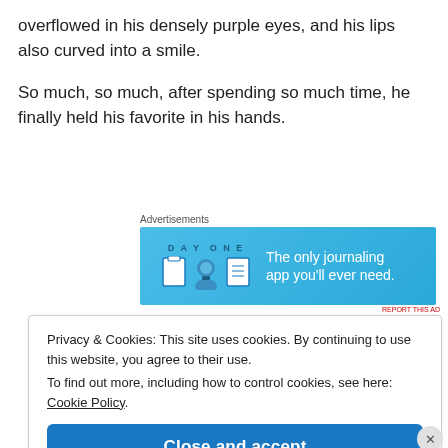overflowed in his densely purple eyes, and his lips also curved into a smile.
So much, so much, after spending so much time, he finally held his favorite in his hands.
[Figure (other): Advertisement banner for Day One journaling app. Light blue background with app icons and text: 'DAY ONE' and 'The only journaling app you'll ever need.']
Privacy & Cookies: This site uses cookies. By continuing to use this website, you agree to their use. To find out more, including how to control cookies, see here: Cookie Policy.
Close and accept